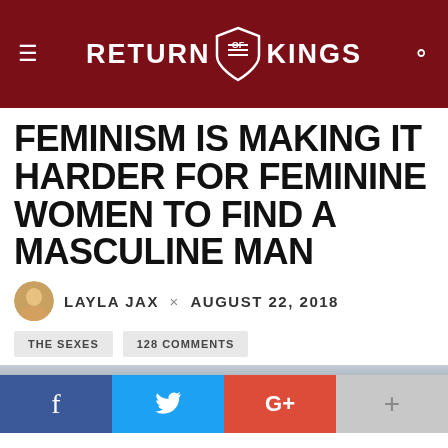Return of Kings
FEMINISM IS MAKING IT HARDER FOR FEMININE WOMEN TO FIND A MASCULINE MAN
LAYLA JAX × AUGUST 22, 2018
THE SEXES
128 COMMENTS
[Figure (other): Social share buttons: Facebook (f), Twitter (bird), Google+ (G+), More (+)]